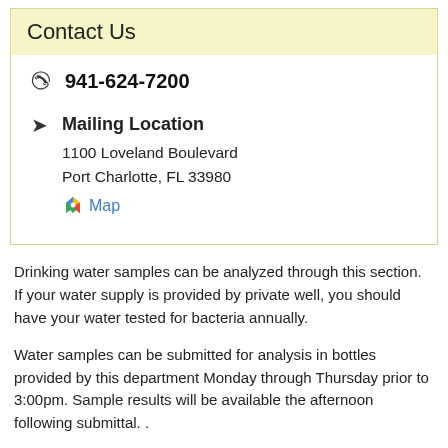Contact Us
941-624-7200
Mailing Location
1100 Loveland Boulevard
Port Charlotte, FL 33980
Map
Drinking water samples can be analyzed through this section. If your water supply is provided by private well, you should have your water tested for bacteria annually.
Water samples can be submitted for analysis in bottles provided by this department Monday through Thursday prior to 3:00pm. Sample results will be available the afternoon following submittal. .
Instructions for Collection of Water Samples
1. Remove the faucet's aerator or strainer if one is